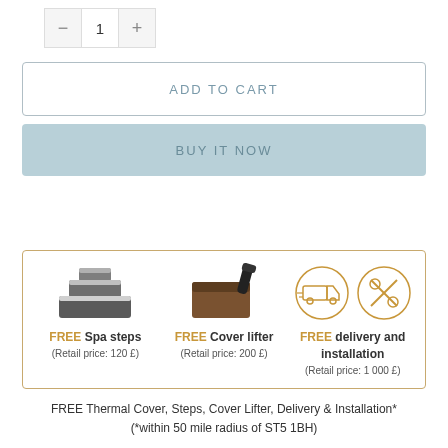[Figure (other): Quantity selector with minus button, value 1, and plus button]
ADD TO CART
BUY IT NOW
[Figure (infographic): Promotional box with border showing: FREE Spa steps (Retail price: 120 £), FREE Cover lifter (Retail price: 200 £), FREE delivery and installation (Retail price: 1 000 £)]
FREE Thermal Cover, Steps, Cover Lifter, Delivery & Installation* (*within 50 mile radius of ST5 1BH)